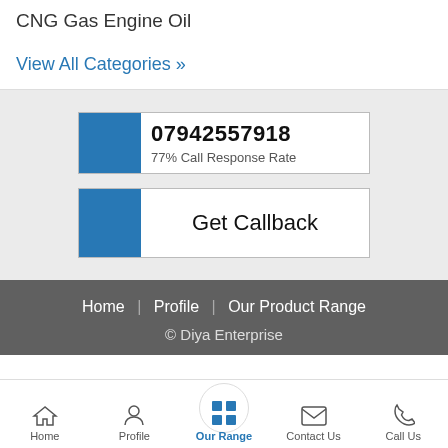CNG Gas Engine Oil
View All Categories »
07942557918
77% Call Response Rate
Get Callback
Home | Profile | Our Product Range
© Diya Enterprise
Home | Profile | Our Range | Contact Us | Call Us